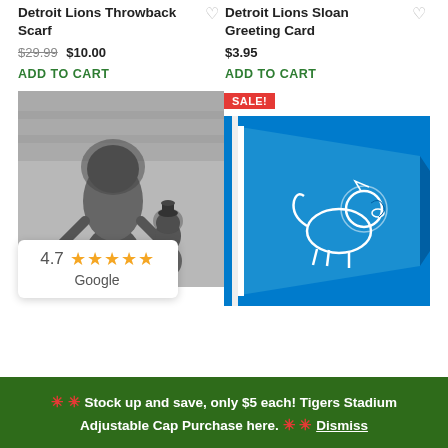Detroit Lions Throwback Scarf
$29.99  $10.00
ADD TO CART
Detroit Lions Sloan Greeting Card
$3.95
ADD TO CART
[Figure (photo): Black and white photo of Detroit Lions mascot costumes on a football field, one large lion mascot and one smaller figure, with stadium crowd in background]
[Figure (photo): Detroit Lions blue flag with white lion logo outlined in navy]
4.7 ★★★★★ Google
SALE!
✳ ✳ Stock up and save, only $5 each! Tigers Stadium Adjustable Cap Purchase here. ✳ ✳ Dismiss